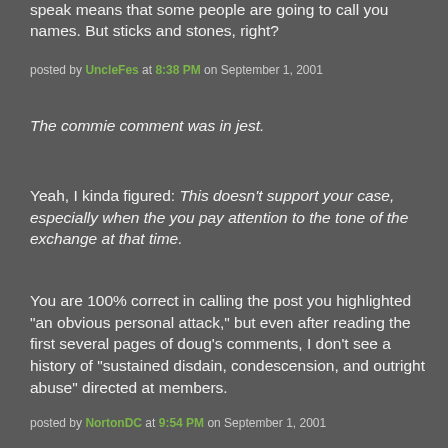speak means that some people are going to call you names. But sticks and stones, right?
posted by UncleFes at 8:38 PM on September 1, 2001
The commie comment was in jest.
Yeah, I kinda figured: This doesn't support your case, especially when the you pay attention to the tone of the exchange at that time.
You are 100% correct in calling the post you highlighted "an obvious personal attack," but even after reading the first several pages of doug's comments, I don't see a history of "sustained disdain, condescension, and outright abuse" directed at members.
posted by NortonDC at 9:54 PM on September 1, 2001